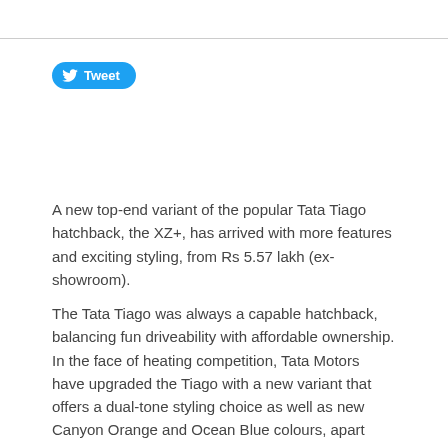[Figure (logo): Twitter Tweet button with bird logo in blue rounded rectangle]
A new top-end variant of the popular Tata Tiago hatchback, the XZ+, has arrived with more features and exciting styling, from Rs 5.57 lakh (ex-showroom).
The Tata Tiago was always a capable hatchback, balancing fun driveability with affordable ownership. In the face of heating competition, Tata Motors have upgraded the Tiago with a new variant that offers a dual-tone styling choice as well as new Canyon Orange and Ocean Blue colours, apart from projector headlamps with a smoked black bezel. The Revotron petrol variants exclusively get 15-inch dual-tone alloy wheels as well.